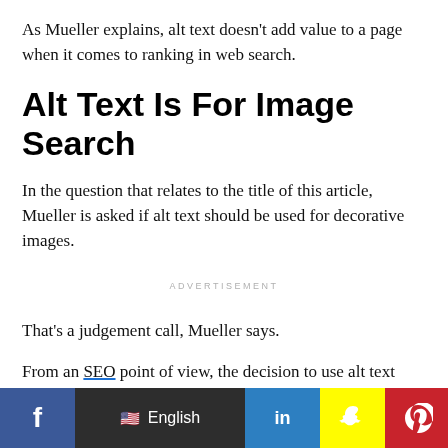As Mueller explains, alt text doesn't add value to a page when it comes to ranking in web search.
Alt Text Is For Image Search
In the question that relates to the title of this article, Mueller is asked if alt text should be used for decorative images.
ADVERTISEMENT
That's a judgement call, Mueller says.
From an SEO point of view, the decision to use alt text depends on whether you care about the images showing
[Figure (other): Social media sharing bar with Facebook, English language selector, LinkedIn, Snapchat, Pinterest, and share buttons]